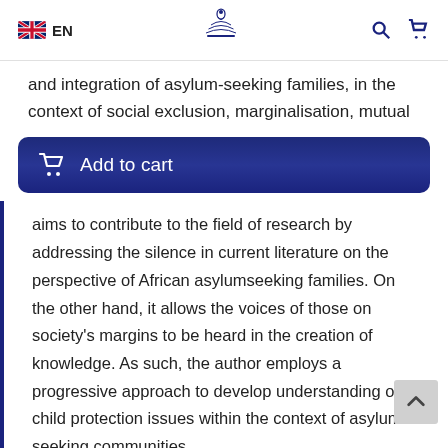EN
and integration of asylum-seeking families, in the context of social exclusion, marginalisation, mutual
Add to cart
aims to contribute to the field of research by addressing the silence in current literature on the perspective of African asylumseeking families. On the other hand, it allows the voices of those on society's margins to be heard in the creation of knowledge. As such, the author employs a progressive approach to develop understanding of child protection issues within the context of asylum-seeking communities.